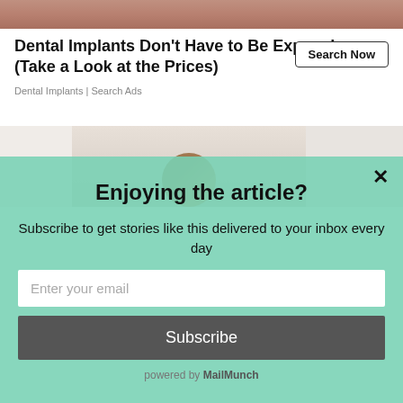[Figure (photo): Close-up photo of skin/face at the top of the page]
Dental Implants Don't Have to Be Expensive (Take a Look at the Prices)
Dental Implants | Search Ads
Search Now
[Figure (photo): Photo of a person (head/shoulders visible), partially shown behind modal overlay]
Enjoying the article?
Subscribe to get stories like this delivered to your inbox every day
Enter your email
Subscribe
powered by MailMunch